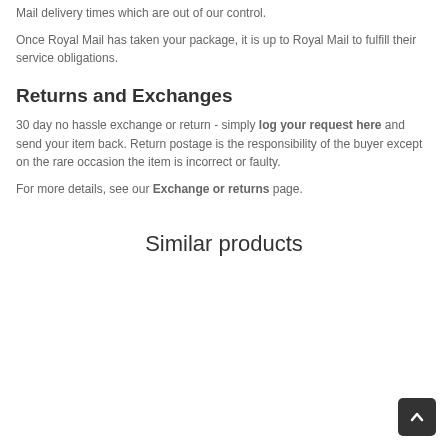Mail delivery times which are out of our control.
Once Royal Mail has taken your package, it is up to Royal Mail to fulfill their service obligations.
Returns and Exchanges
30 day no hassle exchange or return - simply log your request here and send your item back. Return postage is the responsibility of the buyer except on the rare occasion the item is incorrect or faulty.
For more details, see our Exchange or returns page.
Similar products